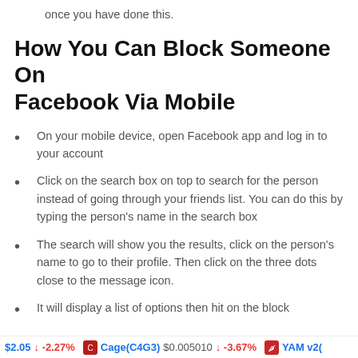once you have done this.
How You Can Block Someone On Facebook Via Mobile
On your mobile device, open Facebook app and log in to your account
Click on the search box on top to search for the person instead of going through your friends list. You can do this by typing the person's name in the search box
The search will show you the results, click on the person's name to go to their profile. Then click on the three dots close to the message icon.
It will display a list of options then hit on the block
$2.05  ↓ -2.27%   Cage(C4G3)  $0.005010  ↓ -3.67%   YAM v2(